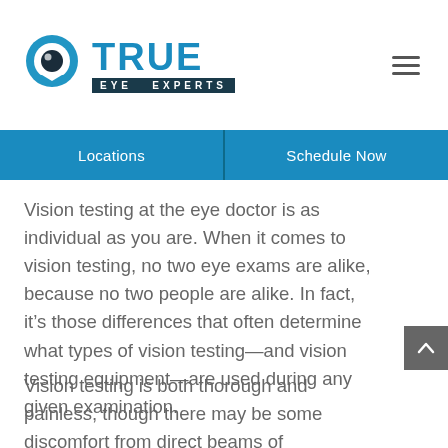[Figure (logo): True Eye Experts logo with blue eye icon and text TRUE EYE EXPERTS]
Locations | Schedule Now
Vision testing at the eye doctor is as individual as you are. When it comes to vision testing, no two eye exams are alike, because no two people are alike. In fact, it's those differences that often determine what types of vision testing—and vision testing equipment—are used during any given examination.
Vision testing is both thorough and painless, though there may be some discomfort from direct beams of